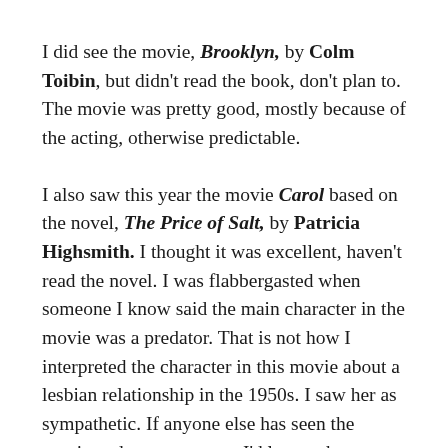I did see the movie, Brooklyn, by Colm Toibin, but didn't read the book, don't plan to. The movie was pretty good, mostly because of the acting, otherwise predictable.
I also saw this year the movie Carol based on the novel, The Price of Salt, by Patricia Highsmith. I thought it was excellent, haven't read the novel. I was flabbergasted when someone I know said the main character in the movie was a predator. That is not how I interpreted the character in this movie about a lesbian relationship in the 1950s. I saw her as sympathetic. If anyone else has seen the movie and can comment, I'd love to hear your